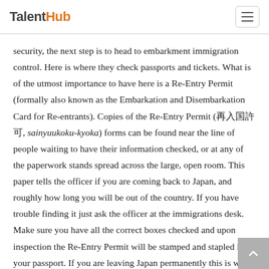TalentHub
security, the next step is to head to embarkment immigration control. Here is where they check passports and tickets. What is of the utmost importance to have here is a Re-Entry Permit (formally also known as the Embarkation and Disembarkation Card for Re-entrants). Copies of the Re-Entry Permit (再入国許可, sainyuukoku-kyoka) forms can be found near the line of people waiting to have their information checked, or at any of the paperwork stands spread across the large, open room. This paper tells the officer if you are coming back to Japan, and roughly how long you will be out of the country. If you have trouble finding it just ask the officer at the immigrations desk. Make sure you have all the correct boxes checked and upon inspection the Re-Entry Permit will be stamped and stapled in your passport. If you are leaving Japan permanently this is when